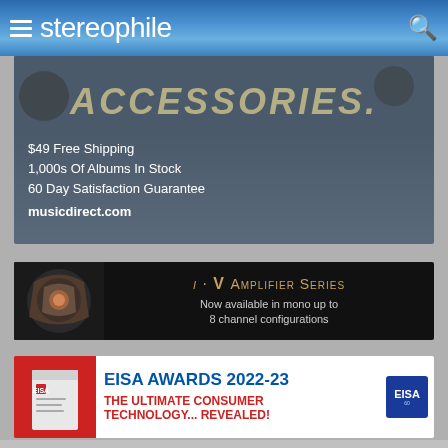stereophile
[Figure (photo): Music Direct advertisement showing accessories and albums with text: ACCESSORIES. $49 Free Shipping, 1,000s Of Albums In Stock, 60 Day Satisfaction Guarantee, musicdirect.com]
[Figure (photo): i·V Amplifier Series advertisement on black background with amplifier image. Text: i·V AMPLIFIER SERIES, Now available in mono up to 8 channel configurations]
[Figure (photo): EISA Awards 2022-23 advertisement. Text: EISA AWARDS 2022-23, THE ULTIMATE CONSUMER TECHNOLOGY... REVEALED! with EISA logo badge]